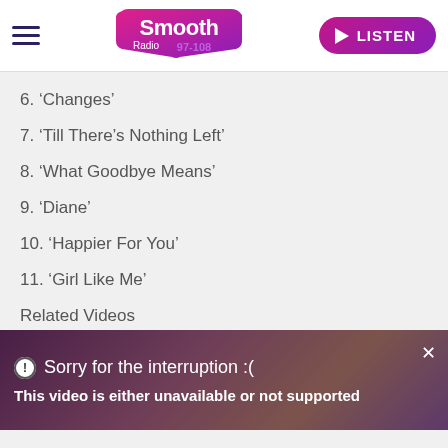[Figure (logo): Smooth Radio 97-108 logo with hamburger menu and LISTEN button]
6. ‘Changes’
7. ‘Till There’s Nothing Left’
8. ‘What Goodbye Means’
9. ‘Diane’
10. ‘Happier For You’
11. ‘Girl Like Me’
Related Videos
[Figure (screenshot): Video player with overlay message: Sorry for the interruption :( This video is either unavailable or not supported]